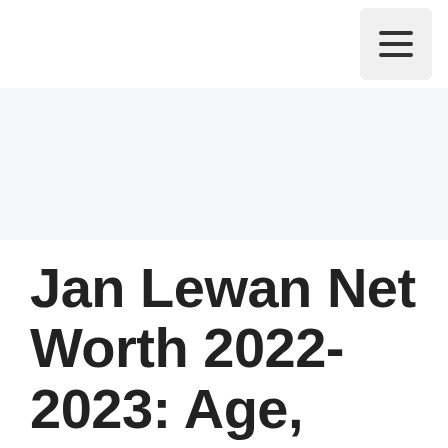Menu
[Figure (other): Gray banner/advertisement placeholder area]
Jan Lewan Net Worth 2022-2023: Age, Height/How Tall, Weight (how...)